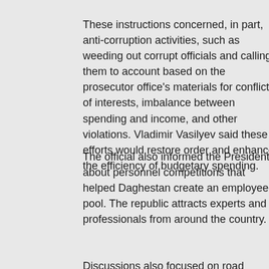These instructions concerned, in part, anti-corruption activities, such as weeding out corrupt officials and calling them to account based on the prosecutor office's materials for conflict of interests, imbalance between spending and income, and other violations. Vladimir Vasilyev said these efforts would restore order and enhance the efficiency of budgetary spending.
The official also informed the President about personnel competitions that helped Daghestan create an employee pool. The republic attracts experts and professionals from around the country.
Discussions also focused on road building to create a modern transportation link between the republic's mountainous districts, the purchase of CT scanners and the construction of a waste recycling plant, about which people in the Botlikh and Tsumadins districts spoke at a meeting with Vladimir Putin in March this year.